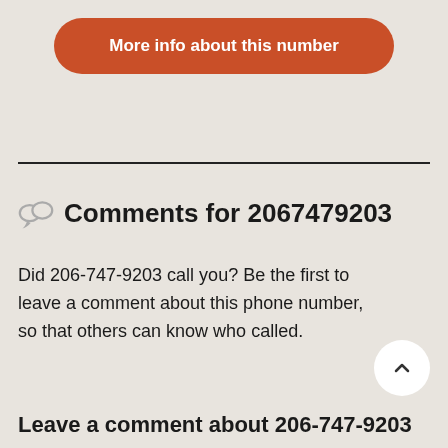[Figure (other): Orange rounded button labeled 'More info about this number']
Comments for 2067479203
Did 206-747-9203 call you? Be the first to leave a comment about this phone number, so that others can know who called.
Leave a comment about 206-747-9203